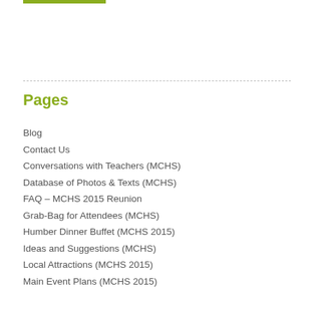[Figure (other): Green horizontal bar at top left]
Pages
Blog
Contact Us
Conversations with Teachers (MCHS)
Database of Photos & Texts (MCHS)
FAQ – MCHS 2015 Reunion
Grab-Bag for Attendees (MCHS)
Humber Dinner Buffet (MCHS 2015)
Ideas and Suggestions (MCHS)
Local Attractions (MCHS 2015)
Main Event Plans (MCHS 2015)